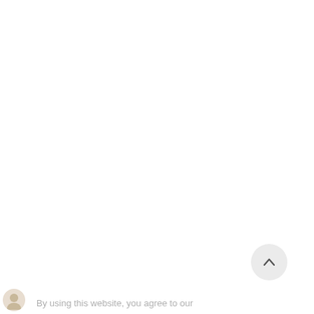[Figure (screenshot): Mostly blank white page with a circular scroll-to-top button in the lower right area, and a partial cookie/privacy notice bar at the very bottom with a small icon on the left and text 'By using this website, you agree to our']
By using this website, you agree to our